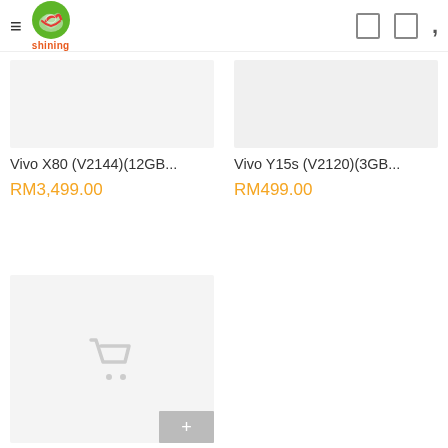Shining (logo) — navigation header with hamburger menu and icons
Vivo X80 (V2144)(12GB...
RM3,499.00
Vivo Y15s (V2120)(3GB...
RM499.00
[Figure (other): Product listing card with shopping cart placeholder icon for Vivo Y15s (V2120)(3GB...]
Vivo Y15s (V2120)(3GB...